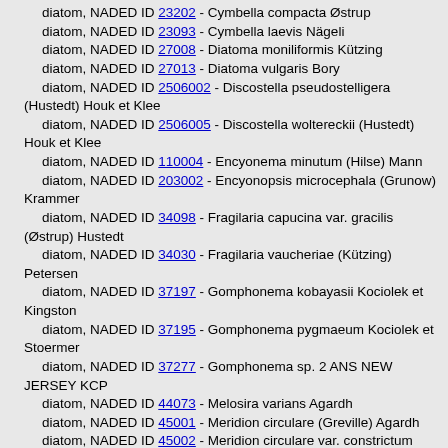diatom, NADED ID 23202 - Cymbella compacta Østrup
diatom, NADED ID 23093 - Cymbella laevis Nägeli
diatom, NADED ID 27008 - Diatoma moniliformis Kützing
diatom, NADED ID 27013 - Diatoma vulgaris Bory
diatom, NADED ID 2506002 - Discostella pseudostelligera (Hustedt) Houk et Klee
diatom, NADED ID 2506005 - Discostella woltereckii (Hustedt) Houk et Klee
diatom, NADED ID 110004 - Encyonema minutum (Hilse) Mann
diatom, NADED ID 203002 - Encyonopsis microcephala (Grunow) Krammer
diatom, NADED ID 34098 - Fragilaria capucina var. gracilis (Østrup) Hustedt
diatom, NADED ID 34030 - Fragilaria vaucheriae (Kützing) Petersen
diatom, NADED ID 37197 - Gomphonema kobayasii Kociolek et Kingston
diatom, NADED ID 37195 - Gomphonema pygmaeum Kociolek et Stoermer
diatom, NADED ID 37277 - Gomphonema sp. 2 ANS NEW JERSEY KCP
diatom, NADED ID 44073 - Melosira varians Agardh
diatom, NADED ID 45001 - Meridion circulare (Greville) Agardh
diatom, NADED ID 45002 - Meridion circulare var. constrictum (Ralfs) Van Heurck
diatom, NADED ID 46893 - Navicula antonii Lange-Bertalot
diatom, NADED ID 46661 - Navicula capitatoradiata Germain
diatom, NADED ID 46014 - Navicula cryptocephala Kützing
diatom, NADED ID 46527 - Navicula cryptotenella Lange-Bertalot